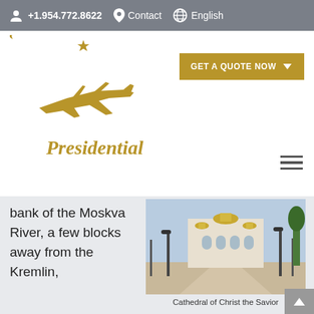+1.954.772.8622  Contact  English
[Figure (logo): Presidential Aviation logo with gold stars in a circle and a gold airplane, with the text 'Presidential' below]
GET A QUOTE NOW
[Figure (photo): Cathedral of Christ the Savior, a white Orthodox church building with a golden dome seen from a walkway with lamp posts]
Cathedral of Christ the Savior
bank of the Moskva River, a few blocks away from the Kremlin, this is the tallest Orthodox Christian church in the world. With a height of 338 feet, it features a magnificent dome decorated with exquisite gold electroplating. Steeped in history,